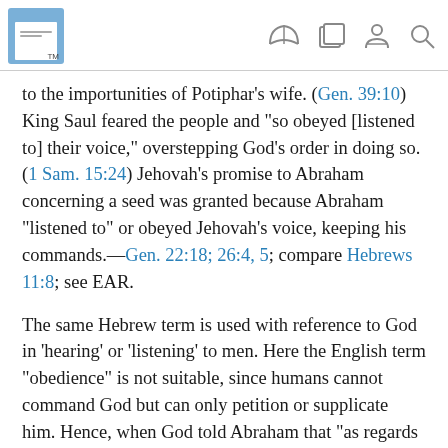TM
to the importunities of Potiphar’s wife. (Gen. 39:10) King Saul feared the people and “so obeyed [listened to] their voice,” overstepping God’s order in doing so. (1 Sam. 15:24) Jehovah’s promise to Abraham concerning a seed was granted because Abraham “listened to” or obeyed Jehovah’s voice, keeping his commands.—Gen. 22:18; 26:4, 5; compare Hebrews 11:8; see EAR.
The same Hebrew term is used with reference to God in ‘hearing’ or ‘listening’ to men. Here the English term “obedience” is not suitable, since humans cannot command God but can only petition or supplicate him. Hence, when God told Abraham that “as regards Ishmael I have heard you,” he was telling Abraham that he had given regard to his request, would act upon (Gen. 17:20) In a similar way God ‘heard’ or responded